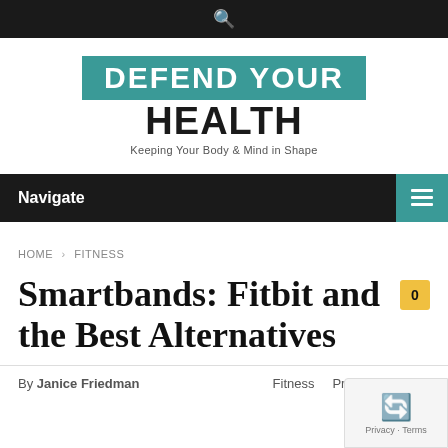🔍
[Figure (logo): Defend Your Health logo — teal box with white text 'DEFEND YOUR', bold black 'HEALTH', tagline 'Keeping Your Body & Mind in Shape']
Navigate ≡
HOME > FITNESS
Smartbands: Fitbit and the Best Alternatives
By Janice Friedman    Fitness    Product Reviews